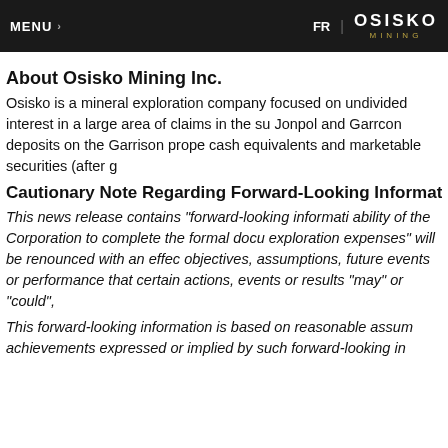MENU   FR | OSISKO MINING
About Osisko Mining Inc.
Osisko is a mineral exploration company focused on undivided interest in a large area of claims in the su Jonpol and Garrcon deposits on the Garrison prope cash equivalents and marketable securities (after g
Cautionary Note Regarding Forward-Looking Informati
This news release contains “forward-looking informati ability of the Corporation to complete the formal docu exploration expenses” will be renounced with an effec objectives, assumptions, future events or performance that certain actions, events or results “may” or “could”,
This forward-looking information is based on reasonable assum achievements expressed or implied by such forward-looking in